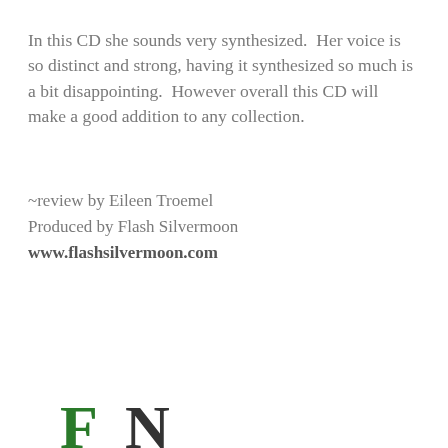In this CD she sounds very synthesized.  Her voice is so distinct and strong, having it synthesized so much is a bit disappointing.  However overall this CD will make a good addition to any collection.
~review by Eileen Troemel
Produced by Flash Silvermoon
www.flashsilvermoon.com
[Figure (logo): Partial logo visible at bottom of page — green and dark letters, partially cropped]